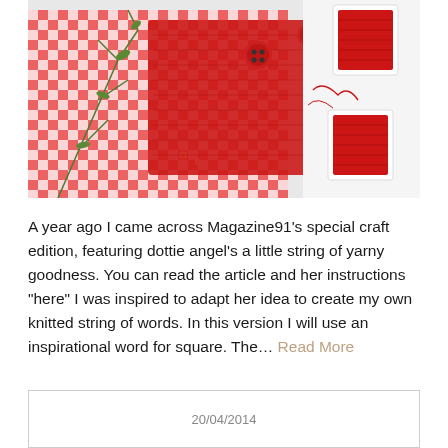[Figure (photo): Overhead photo of red knitted fabric with buttons, red and white gingham cloth, green plant sprigs with small white flowers, and red thread spools on a white surface.]
A year ago I came across Magazine91’s special craft edition, featuring dottie angel’s a little string of yarny goodness. You can read the article and her instructions “here” I was inspired to adapt her idea to create my own knitted string of words. In this version I will use an inspirational word for square. The… Read More
20/04/2014